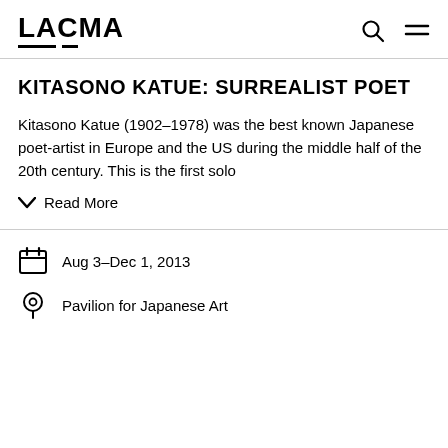LACMA
KITASONO KATUE: SURREALIST POET
Kitasono Katue (1902–1978) was the best known Japanese poet-artist in Europe and the US during the middle half of the 20th century. This is the first solo
Read More
Aug 3–Dec 1, 2013
Pavilion for Japanese Art